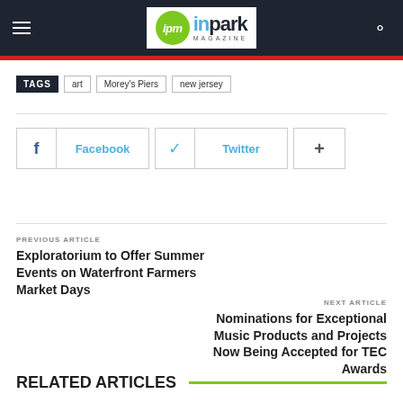ipm inpark MAGAZINE
TAGS  art  Morey's Piers  new jersey
Facebook  Twitter  +
PREVIOUS ARTICLE
Exploratorium to Offer Summer Events on Waterfront Farmers Market Days
NEXT ARTICLE
Nominations for Exceptional Music Products and Projects Now Being Accepted for TEC Awards
RELATED ARTICLES